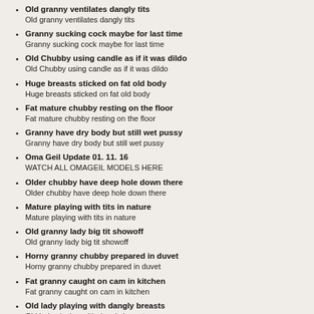Old granny ventilates dangly tits
Old granny ventilates dangly tits
Granny sucking cock maybe for last time
Granny sucking cock maybe for last time
Old Chubby using candle as if it was dildo
Old Chubby using candle as if it was dildo
Huge breasts sticked on fat old body
Huge breasts sticked on fat old body
Fat mature chubby resting on the floor
Fat mature chubby resting on the floor
Granny have dry body but still wet pussy
Granny have dry body but still wet pussy
Oma Geil Update 01. 11. 16
WATCH ALL OMAGEIL MODELS HERE
Older chubby have deep hole down there
Older chubby have deep hole down there
Mature playing with tits in nature
Mature playing with tits in nature
Old granny lady big tit showoff
Old granny lady big tit showoff
Horny granny chubby prepared in duvet
Horny granny chubby prepared in duvet
Fat granny caught on cam in kitchen
Fat granny caught on cam in kitchen
Old lady playing with dangly breasts
Old lady playing with dangly breasts
Closeup granny hairy cunt and nasty ass